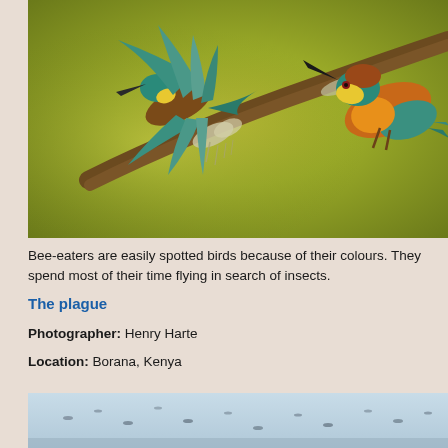[Figure (photo): Two colorful bee-eater birds with teal, orange, yellow and brown plumage. One bird is in flight with wings spread, the other is perched on a lichen-covered branch. Olive-green blurred background.]
Bee-eaters are easily spotted birds because of their colours. They spend most of their time flying in search of insects.
The plague
Photographer: Henry Harte
Location: Borana, Kenya
[Figure (photo): Partial view of a second photo showing birds in a light blue/grey landscape, partially visible at the bottom of the page.]